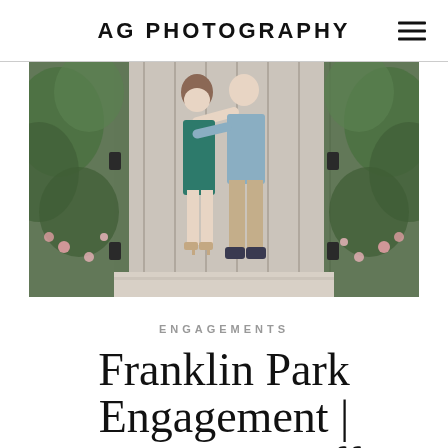AG PHOTOGRAPHY
[Figure (photo): A couple embracing in front of a light gray wooden gate/door, surrounded by lush greenery and flowers on both sides. The woman is wearing a teal/green dress with nude heels; the man is wearing a light blue shirt and khaki pants with dark shoes.]
ENGAGEMENTS
Franklin Park Engagement | Morgan & Jeff